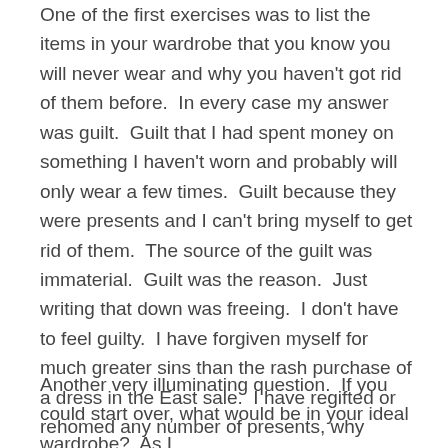One of the first exercises was to list the items in your wardrobe that you know you will never wear and why you haven't got rid of them before.  In every case my answer was guilt.  Guilt that I had spent money on something I haven't worn and probably will only wear a few times.  Guilt because they were presents and I can't bring myself to get rid of them.  The source of the guilt was immaterial.  Guilt was the reason.  Just writing that down was freeing.  I don't have to feel guilty.  I have forgiven myself for much greater sins than the rash purchase of a dress in the East sale.  I have regifted or rehomed any number of presents, why should clothes be different?
Another very illuminating question.  If you could start over, what would be in your ideal wardrobe?  As I